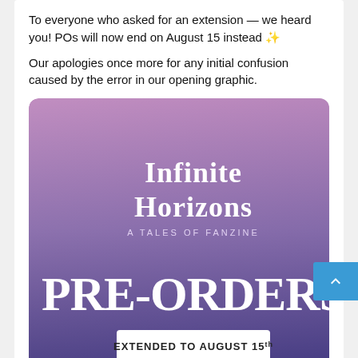To everyone who asked for an extension — we heard you! POs will now end on August 15 instead ✨
Our apologies once more for any initial confusion caused by the error in our opening graphic.
[Figure (illustration): Promotional graphic for 'Infinite Horizons: A Tales of Fanzine' with gradient purple-to-dark-blue background. Large text reads 'PRE-ORDERS' and a white banner says 'EXTENDED TO AUGUST 15th'.]
BUY
[Figure (logo): Playasia logo — circular icon with letter P and stylized design, followed by the text 'playasia' in dark blue.]